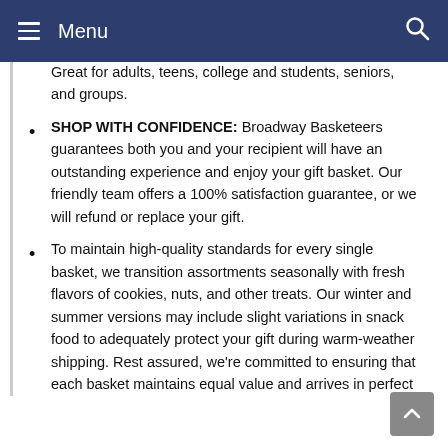Menu
Great for adults, teens, college and students, seniors, and groups.
SHOP WITH CONFIDENCE: Broadway Basketeers guarantees both you and your recipient will have an outstanding experience and enjoy your gift basket. Our friendly team offers a 100% satisfaction guarantee, or we will refund or replace your gift.
To maintain high-quality standards for every single basket, we transition assortments seasonally with fresh flavors of cookies, nuts, and other treats. Our winter and summer versions may include slight variations in snack food to adequately protect your gift during warm-weather shipping. Rest assured, we're committed to ensuring that each basket maintains equal value and arrives in perfect